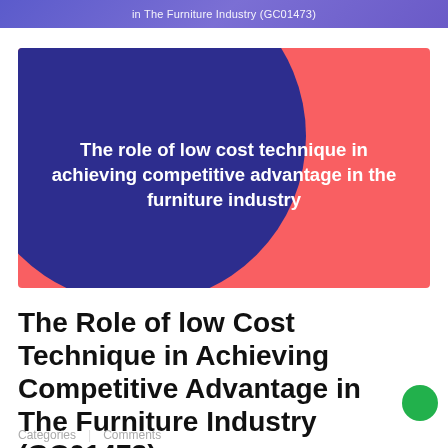in The Furniture Industry (GC01473)
[Figure (illustration): Coral/salmon red rectangular banner with a large dark blue circle overlapping the left side. White bold text centered reads: 'The role of low cost technique in achieving competitive advantage in the furniture industry']
The Role of low Cost Technique in Achieving Competitive Advantage in The Furniture Industry (GC01473)
Categories | Comments